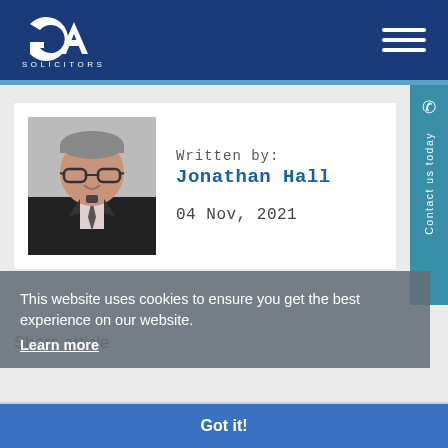GA Solicitors
[Figure (photo): Headshot of Jonathan Hall, a man with glasses wearing a dark suit and tie, smiling]
Written by:
Jonathan Hall
04 Nov, 2021
This website uses cookies to ensure you get the best experience on our website. Learn more
Share article
13 Shares
Got it!